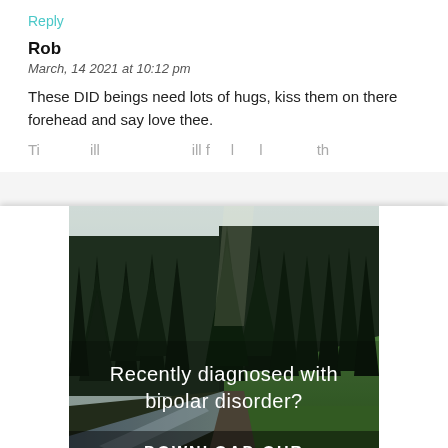Reply
Rob
March, 14 2021 at 10:12 pm
These DID beings need lots of hugs, kiss them on there forehead and say love thee.
[Figure (photo): Forest landscape with river and pine trees, advertisement for bipolar disorder ebook. Text reads: 'Recently diagnosed with bipolar disorder? DOWNLOAD OUR FREE EBOOK NOW.']
advertisement